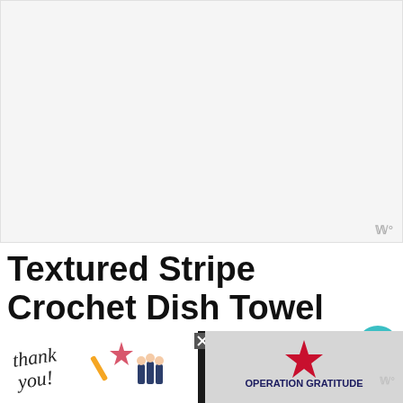[Figure (other): Large advertisement placeholder area, light gray background with white fill and border]
Textured Stripe Crochet Dish Towel Pattern Instructions
You can make a larger or smaller dish towel or a blanket by using any number for the ch
[Figure (other): Bottom banner advertisement: left side shows 'thank you' handwritten note with American flag and firefighters photo; right side shows Operation Gratitude logo on grey background. Dark background overall with a close (X) button.]